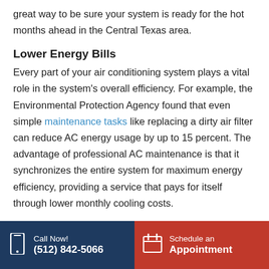great way to be sure your system is ready for the hot months ahead in the Central Texas area.
Lower Energy Bills
Every part of your air conditioning system plays a vital role in the system’s overall efficiency. For example, the Environmental Protection Agency found that even simple maintenance tasks like replacing a dirty air filter can reduce AC energy usage by up to 15 percent. The advantage of professional AC maintenance is that it synchronizes the entire system for maximum energy efficiency, providing a service that pays for itself through lower monthly cooling costs.
Long-Term Savings
During each seasonal maintenance call, your HVAC technician will perform an array of tasks using
Call Now! (512) 842-5066 | Schedule an Appointment